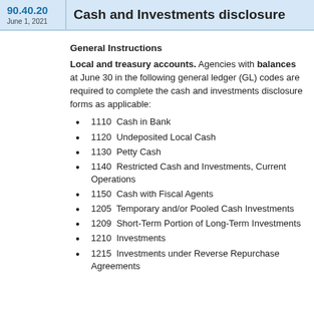90.40.20 Cash and Investments disclosure
June 1, 2021
General Instructions
Local and treasury accounts. Agencies with balances at June 30 in the following general ledger (GL) codes are required to complete the cash and investments disclosure forms as applicable:
1110  Cash in Bank
1120  Undeposited Local Cash
1130  Petty Cash
1140  Restricted Cash and Investments, Current Operations
1150  Cash with Fiscal Agents
1205  Temporary and/or Pooled Cash Investments
1209  Short-Term Portion of Long-Term Investments
1210  Investments
1215  Investments under Reverse Repurchase Agreements